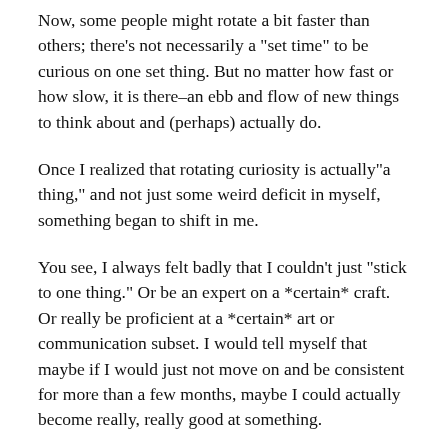Now, some people might rotate a bit faster than others; there's not necessarily a "set time" to be curious on one set thing. But no matter how fast or how slow, it is there–an ebb and flow of new things to think about and (perhaps) actually do.
Once I realized that rotating curiosity is actually"a thing," and not just some weird deficit in myself, something began to shift in me.
You see, I always felt badly that I couldn't just "stick to one thing." Or be an expert on a *certain* craft. Or really be proficient at a *certain* art or communication subset. I would tell myself that maybe if I would just not move on and be consistent for more than a few months, maybe I could actually become really, really good at something.